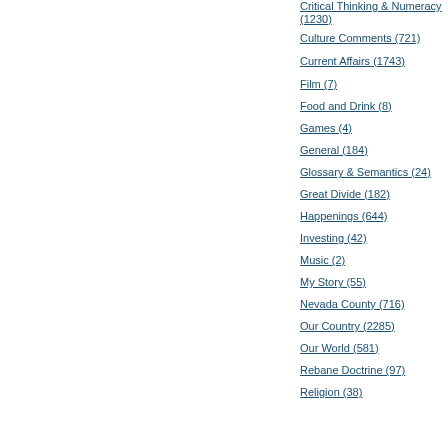in
Co
Sa
Pe
[Figure (illustration): Partial blue circle/bubble icon and vertical bar element]
Co
[Figure (illustration): Striped rectangular image thumbnail with teal/blue horizontal stripes]
Critical Thinking & Numeracy (1230)
Culture Comments (721)
Current Affairs (1743)
Film (7)
Food and Drink (8)
Games (4)
General (184)
Glossary & Semantics (24)
Great Divide (182)
Happenings (644)
Investing (42)
Music (2)
My Story (55)
Nevada County (716)
Our Country (2285)
Our World (581)
Rebane Doctrine (97)
Religion (38)